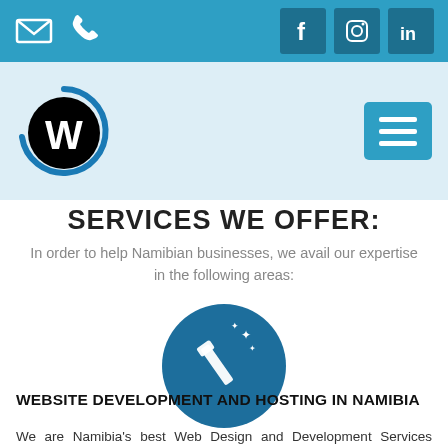[Top navigation bar with email, phone, Facebook, Instagram, LinkedIn icons]
[Figure (logo): W logo circle in black with blue border, hamburger menu button in teal]
SERVICES WE OFFER:
In order to help Namibian businesses, we avail our expertise in the following areas:
[Figure (illustration): Teal circle with magic wand and sparkles icon]
WEBSITE DEVELOPMENT AND HOSTING IN NAMIBIA
We are Namibia's best Web Design and Development Services provider. We offer Trusted Email Hosting Services